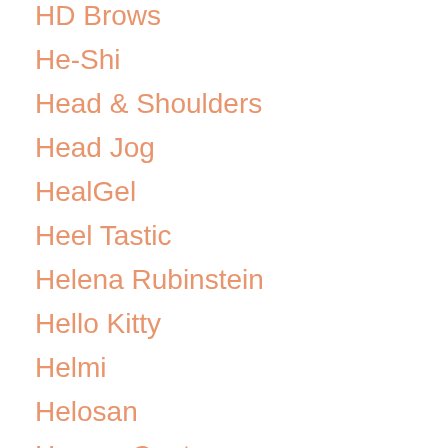HD Brows
He-Shi
Head & Shoulders
Head Jog
HealGel
Heel Tastic
Helena Rubinstein
Hello Kitty
Helmi
Helosan
Hempz Couture
Herbamedicus